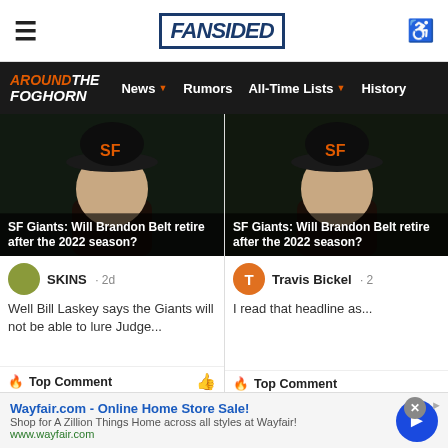FanSided
AROUND THE FOGHORN | News | Rumors | All-Time Lists | History
[Figure (screenshot): SF Giants player wearing orange and black SF cap, dark background]
SF Giants: Will Brandon Belt retire after the 2022 season?
SKINS · 2d
Well Bill Laskey says the Giants will not be able to lure Judge...
🔥 Top Comment
[Figure (screenshot): SF Giants player wearing orange and black SF cap, dark background — second card]
SF Giants: Will Brandon Belt retire after the 2022 season?
Travis Bickel · 2
I read that headline as...
🔥 Top Comment
Wayfair.com - Online Home Store Sale!
Shop for A Zillion Things Home across all styles at Wayfair!
www.wayfair.com